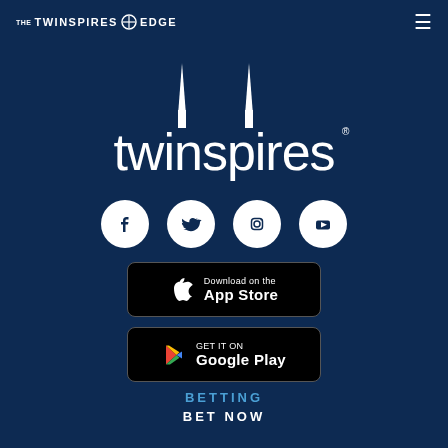THE TWINSPIRES @ EDGE
[Figure (logo): TwinSpires logo with two spires above the word 'twinspires' in white on dark blue background]
[Figure (infographic): Four social media icons in white circles: Facebook, Twitter, Instagram, YouTube]
[Figure (infographic): Download on the App Store button (black rounded rectangle with Apple logo)]
[Figure (infographic): Get it on Google Play button (black rounded rectangle with Google Play logo)]
BETTING
BET NOW